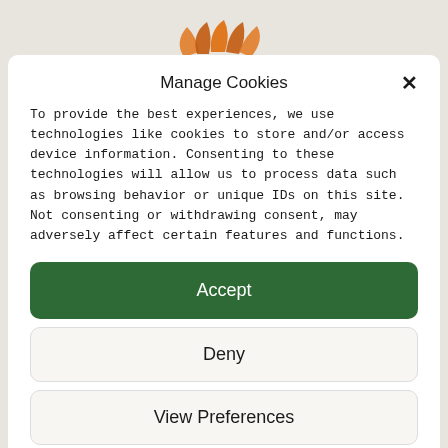[Figure (logo): Circular logo with orange/dark segments resembling a stylized sun or leaf pattern, partially visible at top]
Manage Cookies
To provide the best experiences, we use technologies like cookies to store and/or access device information. Consenting to these technologies will allow us to process data such as browsing behavior or unique IDs on this site. Not consenting or withdrawing consent, may adversely affect certain features and functions.
Accept
Deny
View Preferences
Politique de confidentialité